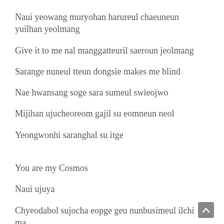Naui yeowang muryohan harureul chaeuneun yuilhan yeolmang
Give it to me nal manggatteuril saeroun jeolmang
Sarange nuneul tteun dongsie makes me blind
Nae hwansang soge sara sumeul swieojwo
Mijihan ujucheoreom gajil su eomneun neol
Yeongwonhi saranghal su itge
You are my Cosmos
Naui ujuya
Chyeodabol sujocha eopge geu nunbusimeul ilchi ma